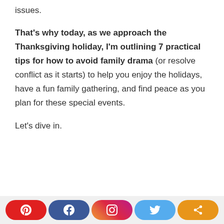issues.
That's why today, as we approach the Thanksgiving holiday, I'm outlining 7 practical tips for how to avoid family drama (or resolve conflict as it starts) to help you enjoy the holidays, have a fun family gathering, and find peace as you plan for these special events.
Let's dive in.